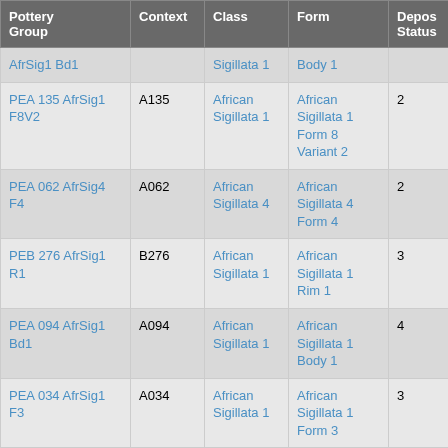| Pottery Group | Context | Class | Form | Depos Status | R Ct | R Ev |
| --- | --- | --- | --- | --- | --- | --- |
| AfrSig1 Bd1 |  | Sigillata 1 | Body 1 |  |  |  |
| PEA 135 AfrSig1 F8V2 | A135 | African Sigillata 1 | African Sigillata 1 Form 8 Variant 2 | 2 | 2 | 2 |
| PEA 062 AfrSig4 F4 | A062 | African Sigillata 4 | African Sigillata 4 Form 4 | 2 | 2 | 1 |
| PEB 276 AfrSig1 R1 | B276 | African Sigillata 1 | African Sigillata 1 Rim 1 | 3 | 1 |  |
| PEA 094 AfrSig1 Bd1 | A094 | African Sigillata 1 | African Sigillata 1 Body 1 | 4 |  |  |
| PEA 034 AfrSig1 F3 | A034 | African Sigillata 1 | African Sigillata 1 Form 3 | 3 | 1 | 1 |
| PEA 135 | A135 | African | African Sigillata 4 | 1/2 | 1 | 1 |